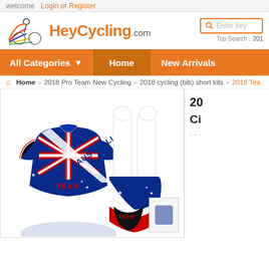welcome Login or Register
[Figure (logo): HeyCycling.com logo with cyclist graphic in orange, red, blue, yellow and green colors]
[Figure (screenshot): Search box with orange border and magnifier icon, 'Enter key...' placeholder text, Top Search: 201...]
All Categories ▼   Home   New Arrivals
🏠 Home » 2018 Pro Team New Cycling » 2018 cycling (bib) short kits » 2018 Tea...
[Figure (photo): Australia Team cycling jersey (blue with Australian flag design and AUSTRALIA text) and white bib shorts with Australian flag lower half]
20
Ci
---